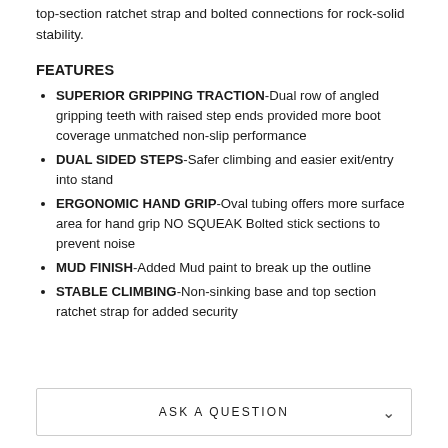top-section ratchet strap and bolted connections for rock-solid stability.
FEATURES
SUPERIOR GRIPPING TRACTION-Dual row of angled gripping teeth with raised step ends provided more boot coverage unmatched non-slip performance
DUAL SIDED STEPS-Safer climbing and easier exit/entry into stand
ERGONOMIC HAND GRIP-Oval tubing offers more surface area for hand grip NO SQUEAK Bolted stick sections to prevent noise
MUD FINISH-Added Mud paint to break up the outline
STABLE CLIMBING-Non-sinking base and top section ratchet strap for added security
ASK A QUESTION